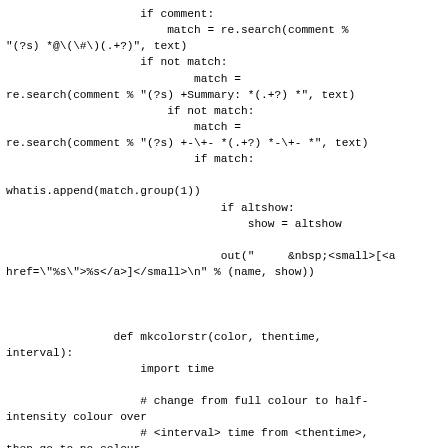if comment:
    match = re.search(comment % "(?s) *@\(\#\)(.+?)", text)
    if not match:
        match =
re.search(comment % "(?s) +Summary: *(.+?) *", text)
        if not match:
            match =
re.search(comment % "(?s) +-\+- *(.+?) *-\+- *", text)
            if match:

whatis.append(match.group(1))
                if altshow:
                    show = altshow

                out("     &nbsp;<small>[<a
href=\"%s\">%s</a>]</small>\n" % (name, show))



        def mkcolorstr(color, thentime,
interval):
            import time

            # change from full colour to half-
intensity colour over
            # <interval> time from <thentime>,
then go to no colour.
            nowtime = time.time()
            oldtime = nowtime - interval*2